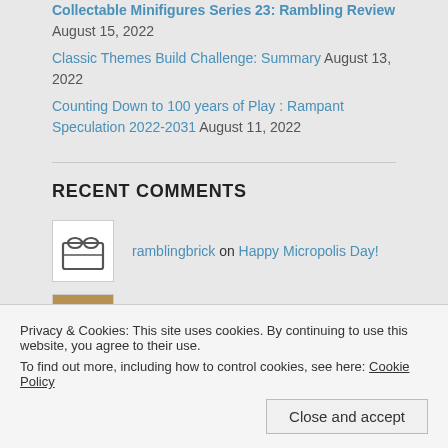Collectable Minifigures Series 23: Rambling Review August 15, 2022
Classic Themes Build Challenge: Summary August 13, 2022
Counting Down to 100 years of Play : Rampant Speculation 2022-2031 August 11, 2022
RECENT COMMENTS
ramblingbrick on Happy Micropolis Day!
jam171081 on Happy Micropolis Day!
ramblingbrick on Happy Micropolis Day!
Privacy & Cookies: This site uses cookies. By continuing to use this website, you agree to their use.
To find out more, including how to control cookies, see here: Cookie Policy